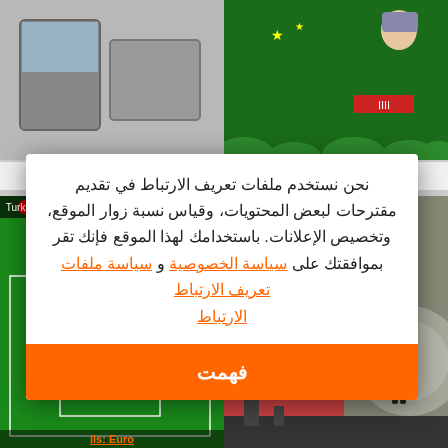[Figure (screenshot): Top-left game thumbnail - grey/vending machine game background]
[Figure (screenshot): Top-right Wolf Hunter game thumbnail - green background with character, stars, bushes and red score counter]
oky Vending Machine
Wolf Hunter
[Figure (screenshot): Bottom-left football/soccer game screenshot - green field with players, score bar showing Turkey flag and 09:00]
[Figure (screenshot): Bottom-right game screenshot - pink/salmon background with illustrated character on balcony and character in glowing circle]
lls: Euro
نحن نستخدم ملفات تعريف الارتباط في تقديم مقترحات لبعض المحتويات، وقياس نسبة زوار الموقع، وتخصيص الإعلانات. باستخدامك لهذا الموقع فإنك تقر بموافقتك على سياسة الخصوصية و سياسة ملفات تعريف الارتباط
فهمت